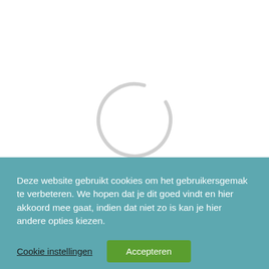[Figure (other): A loading spinner circle (light gray circular arc) centered in the white upper section of the page]
Deze website gebruikt cookies om het gebruikersgemak te verbeteren. We hopen dat je dit goed vindt en hier akkoord mee gaat, indien dat niet zo is kan je hier andere opties kiezen.
Cookie instellingen
Accepteren